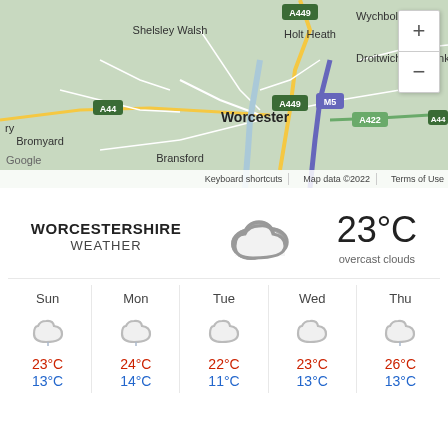[Figure (map): Google Maps screenshot showing Worcestershire area including Worcester city, surrounding towns (Shelsley Walsh, Holt Heath, Wychbold, Droitwich Spa, Bromyard, Bransford), and roads (A449, A44, A422, M5). Zoom controls visible top right. Map data ©2022.]
WORCESTERSHIRE WEATHER
23°C overcast clouds
| Sun | Mon | Tue | Wed | Thu |
| --- | --- | --- | --- | --- |
| [cloud icon] | [cloud icon] | [cloud icon] | [cloud icon] | [cloud icon] |
| 23°C / 13°C | 24°C / 14°C | 22°C / 11°C | 23°C / 13°C | 26°C / 13°C |